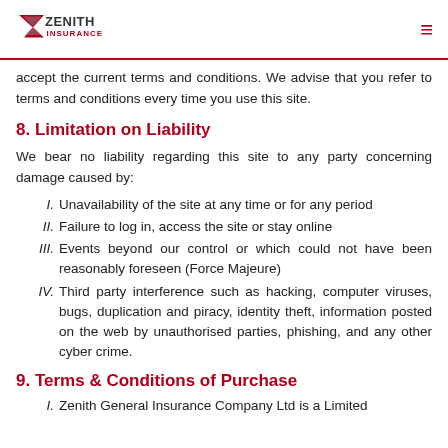Zenith Insurance
accept the current terms and conditions. We advise that you refer to terms and conditions every time you use this site.
8. Limitation on Liability
We bear no liability regarding this site to any party concerning damage caused by:
I. Unavailability of the site at any time or for any period
II. Failure to log in, access the site or stay online
III. Events beyond our control or which could not have been reasonably foreseen (Force Majeure)
IV. Third party interference such as hacking, computer viruses, bugs, duplication and piracy, identity theft, information posted on the web by unauthorised parties, phishing, and any other cyber crime.
9. Terms & Conditions of Purchase
I. Zenith General Insurance Company Ltd is a Limited